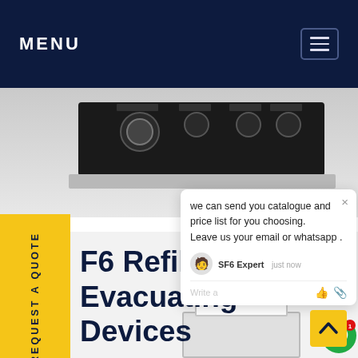MENU
[Figure (photo): Close-up of electronic instrument panel with black body, knobs and connectors on front face, partially cropped]
[Figure (screenshot): Chat popup widget with message: 'we can send you catalogue and price list for you choosing. Leave us your email or whatsapp .' From SF6 Expert, just now. Write a message input field.]
REQUEST A QUOTE
F6 Refilling Evacuating Devices
[Figure (photo): SF6 refilling evacuating device with red hoses and black tips, white body unit at bottom]
[Figure (infographic): Green circular chat badge icon with red notification badge showing '1']
^